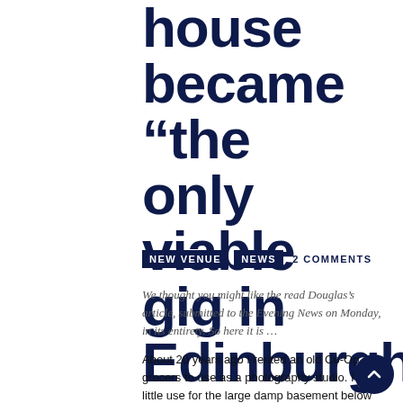house became “the only viable gig in Edinburgh”
NEW VENUE  NEWS  2 COMMENTS
We thought you might like the read Douglas’s article, submitted to the Evening News on Monday, in its entirety. So here it is …
About 20 years ago I rented an old Co-Op grocers to use as a photography studio. I had little use for the large damp basement below